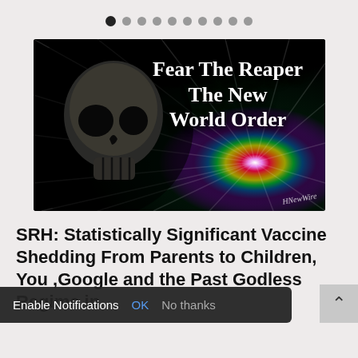[Figure (other): Pagination dots: 10 dots, first dot is active/filled, rest are lighter]
[Figure (illustration): Dark background image with a skull on the left side, colorful starburst/light rays on the right, text overlay reading 'Fear The Reaper The New World Order' with watermark 'HNewWire']
SRH: Statistically Significant Vaccine Shedding From Parents to Children, You ,Google and the Past Godless Regime in
[Figure (screenshot): Notification bar overlay at bottom: 'Enable Notifications' with OK (blue) and No thanks (gray) buttons. Scroll-to-top button on right.]